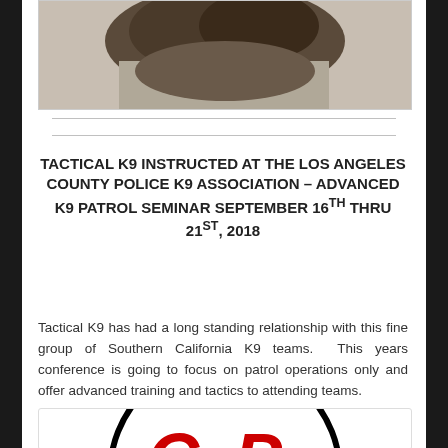[Figure (photo): Partial view of a dark-colored animal (likely a dog) on light background, cropped at top]
TACTICAL K9 INSTRUCTED AT THE LOS ANGELES COUNTY POLICE K9 ASSOCIATION – ADVANCED K9 PATROL SEMINAR SEPTEMBER 16TH THRU 21ST, 2018
Tactical K9 has had a long standing relationship with this fine group of Southern California K9 teams.  This years conference is going to focus on patrol operations only and offer advanced training and tactics to attending teams.
[Figure (logo): Partial circular logo with letters C, P visible in red on white background with black border, partially cropped at bottom of page]